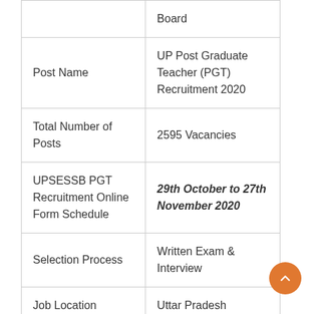|  | Board |
| Post Name | UP Post Graduate Teacher (PGT) Recruitment 2020 |
| Total Number of Posts | 2595 Vacancies |
| UPSESSB PGT Recruitment Online Form Schedule | 29th October to 27th November 2020 |
| Selection Process | Written Exam & Interview |
| Job Location | Uttar Pradesh |